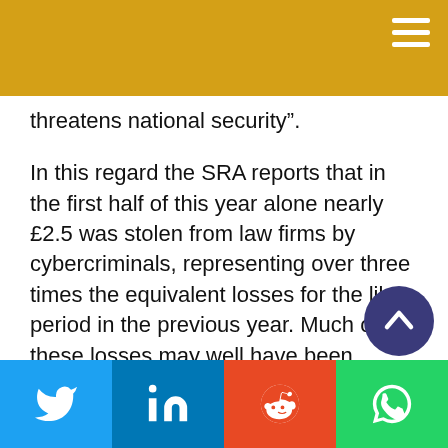threatens national security”.
In this regard the SRA reports that in the first half of this year alone nearly £2.5 was stolen from law firms by cybercriminals, representing over three times the equivalent losses for the like period in the previous year. Much of these losses may well have been covered by the profession’s insurers as stated, but insurers are commercial rather than charitable creatures and will, understandably, be unwilling to overlook losses without increasing premiums in future renewals to reclaim them.
An additional risk identified earlier in the year was